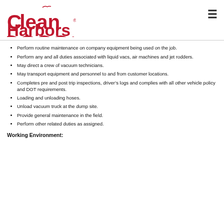[Figure (logo): Clean Harbors logo in red with wave design]
Perform routine maintenance on company equipment being used on the job.
Perform any and all duties associated with liquid vacs, air machines and jet rodders.
May direct a crew of vacuum technicians.
May transport equipment and personnel to and from customer locations.
Completes pre and post trip inspections, driver's logs and complies with all other vehicle policy and DOT requirements.
Loading and unloading hoses.
Unload vacuum truck at the dump site.
Provide general maintenance in the field.
Perform other related duties as assigned.
Working Environment: